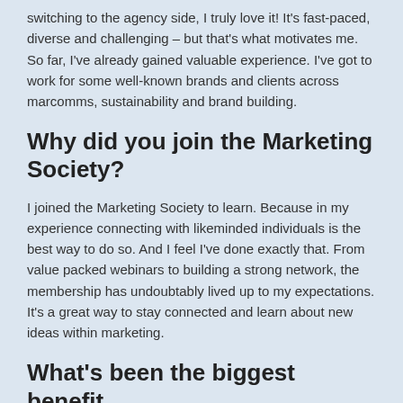switching to the agency side, I truly love it! It’s fast-paced, diverse and challenging – but that’s what motivates me. So far, I’ve already gained valuable experience. I’ve got to work for some well-known brands and clients across marcomms, sustainability and brand building.
Why did you join the Marketing Society?
I joined the Marketing Society to learn. Because in my experience connecting with likeminded individuals is the best way to do so. And I feel I’ve done exactly that. From value packed webinars to building a strong network, the membership has undoubtably lived up to my expectations. It’s a great way to stay connected and learn about new ideas within marketing.
What’s been the biggest benefit